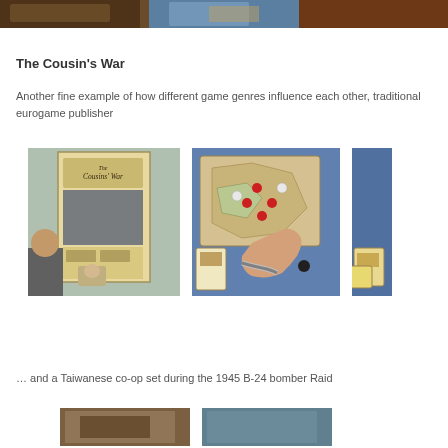[Figure (photo): Three photos from a board game convention at the top of the page, partially cropped]
The Cousin's War
Another fine example of how different game genres influence each other, traditional eurogame publisher
[Figure (photo): Three photos showing The Cousins' War board game display and gameplay with red pieces on a map]
… and a Taiwanese co-op set during the 1945 B-24 bomber Raid
[Figure (photo): Two photos at the bottom of the page, partially cropped]